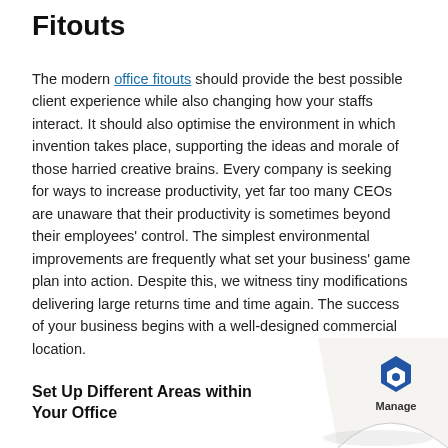Fitouts
The modern office fitouts should provide the best possible client experience while also changing how your staffs interact. It should also optimise the environment in which invention takes place, supporting the ideas and morale of those harried creative brains. Every company is seeking for ways to increase productivity, yet far too many CEOs are unaware that their productivity is sometimes beyond their employees' control. The simplest environmental improvements are frequently what set your business' game plan into action. Despite this, we witness tiny modifications delivering large returns time and time again. The success of your business begins with a well-designed commercial location.
Set Up Different Areas within Your Office
[Figure (logo): Manage engine logo with page curl effect in bottom right corner]